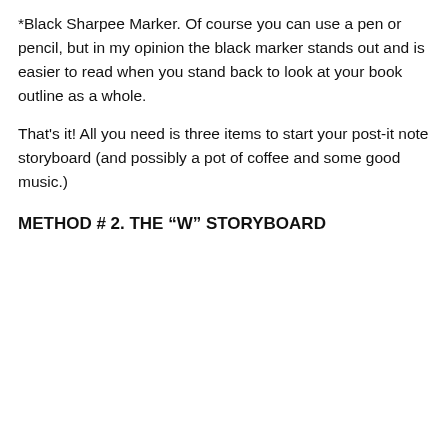*Black Sharpee Marker. Of course you can use a pen or pencil, but in my opinion the black marker stands out and is easier to read when you stand back to look at your book outline as a whole.
That's it! All you need is three items to start your post-it note storyboard (and possibly a pot of coffee and some good music.)
METHOD # 2. THE “W” STORYBOARD
[Figure (screenshot): Screenshot of a webpage with a broken image icon in top-left, a cookie consent notice overlay reading 'Privacy & Cookies: This site uses cookies. By continuing to use this website, you agree to their use. To find out more, including how to control cookies, see here: Cookie Policy', a close button (X) on the right, a 'Close and accept' button at bottom-right, and a colored bar at the bottom.]